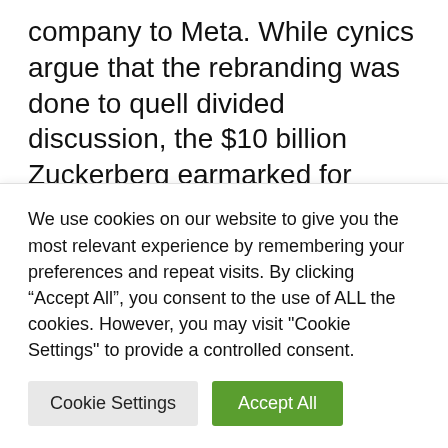company to Meta. While cynics argue that the rebranding was done to quell divided discussion, the $10 billion Zuckerberg earmarked for metaverse development is clear evidence that Meta wants to play a leadership role. Others go together. Microsoft, the maker of the Xbox, recently surprised friend and foe (Sony) by taking a major hit with its purchase of game developer Activision/Blizzard for a billion...
We use cookies on our website to give you the most relevant experience by remembering your preferences and repeat visits. By clicking “Accept All”, you consent to the use of ALL the cookies. However, you may visit "Cookie Settings" to provide a controlled consent.